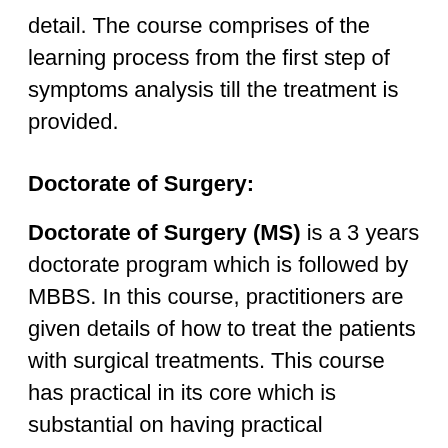detail. The course comprises of the learning process from the first step of symptoms analysis till the treatment is provided.
Doctorate of Surgery:
Doctorate of Surgery (MS) is a 3 years doctorate program which is followed by MBBS. In this course, practitioners are given details of how to treat the patients with surgical treatments. This course has practical in its core which is substantial on having practical knowledge of conducting operations (surgeries). This could be termed general surgery related to different organs of the body i.e. stomach,